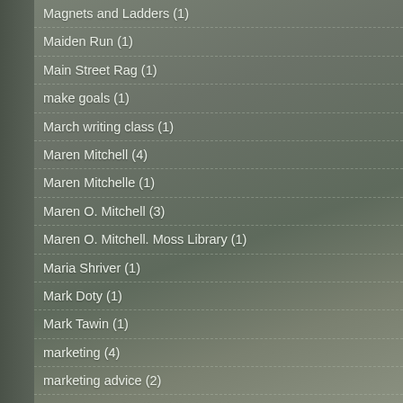Magnets and Ladders (1)
Maiden Run (1)
Main Street Rag (1)
make goals (1)
March writing class (1)
Maren Mitchell (4)
Maren Mitchelle (1)
Maren O. Mitchell (3)
Maren O. Mitchell. Moss Library (1)
Maria Shriver (1)
Mark Doty (1)
Mark Tawin (1)
marketing (4)
marketing advice (2)
marketing and self-publishing (2)
marketing books (4)
marketing your book (4)
Marsha Barnes (1)
Marvin Cole (1)